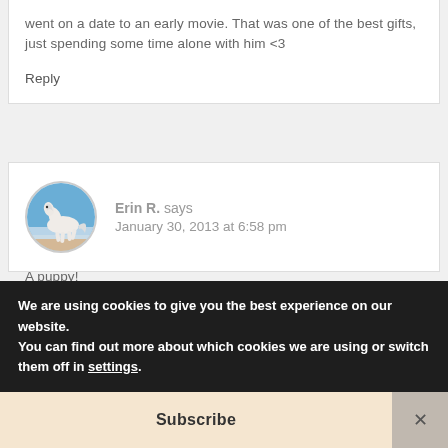went on a date to an early movie. That was one of the best gifts, just spending some time alone with him <3
Reply
[Figure (photo): Circular avatar image of a white horse running on a beach]
Erin R. says
January 30, 2013 at 6:58 pm
A puppy!
We are using cookies to give you the best experience on our website.
You can find out more about which cookies we are using or switch them off in settings.
Subscribe
×